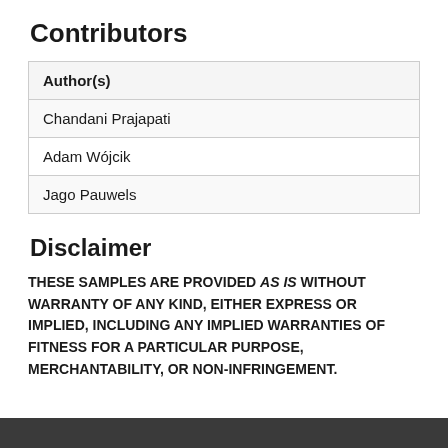Contributors
| Author(s) |
| --- |
| Chandani Prajapati |
| Adam Wójcik |
| Jago Pauwels |
Disclaimer
THESE SAMPLES ARE PROVIDED AS IS WITHOUT WARRANTY OF ANY KIND, EITHER EXPRESS OR IMPLIED, INCLUDING ANY IMPLIED WARRANTIES OF FITNESS FOR A PARTICULAR PURPOSE, MERCHANTABILITY, OR NON-INFRINGEMENT.